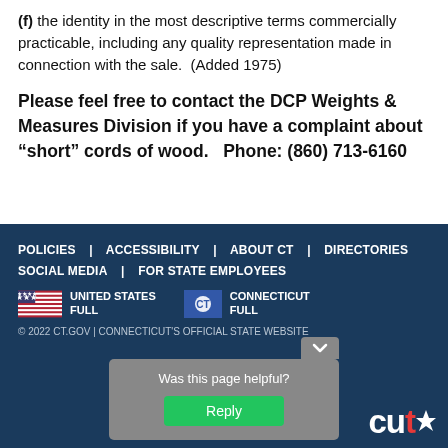(f) the identity in the most descriptive terms commercially practicable, including any quality representation made in connection with the sale.  (Added 1975)
Please feel free to contact the DCP Weights & Measures Division if you have a complaint about “short” cords of wood.   Phone: (860) 713-6160
POLICIES  ACCESSIBILITY  ABOUT CT  DIRECTORIES  SOCIAL MEDIA  FOR STATE EMPLOYEES

UNITED STATES FULL | CONNECTICUT FULL

© 2022 CT.GOV | CONNECTICUT'S OFFICIAL STATE WEBSITE
Was this page helpful?
Reply